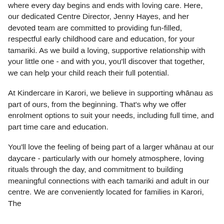where every day begins and ends with loving care. Here, our dedicated Centre Director, Jenny Hayes, and her devoted team are committed to providing fun-filled, respectful early childhood care and education, for your tamariki. As we build a loving, supportive relationship with your little one - and with you, you'll discover that together, we can help your child reach their full potential.
At Kindercare in Karori, we believe in supporting whānau as part of ours, from the beginning. That's why we offer enrolment options to suit your needs, including full time, and part time care and education.
You'll love the feeling of being part of a larger whānau at our daycare - particularly with our homely atmosphere, loving rituals through the day, and commitment to building meaningful connections with each tamariki and adult in our centre. We are conveniently located for families in Karori, The